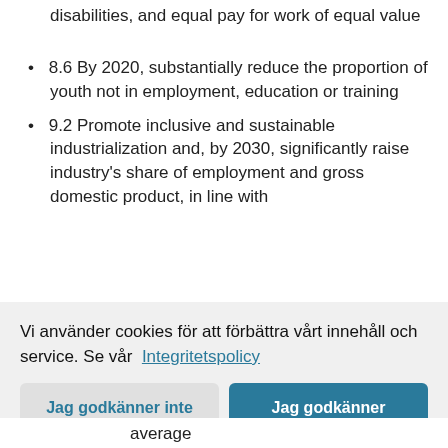disabilities, and equal pay for work of equal value
8.6 By 2020, substantially reduce the proportion of youth not in employment, education or training
9.2 Promote inclusive and sustainable industrialization and, by 2030, significantly raise industry's share of employment and gross domestic product, in line with
Vi använder cookies för att förbättra vårt innehåll och service. Se vår Integritetspolicy
Jag godkänner inte
Jag godkänner
average